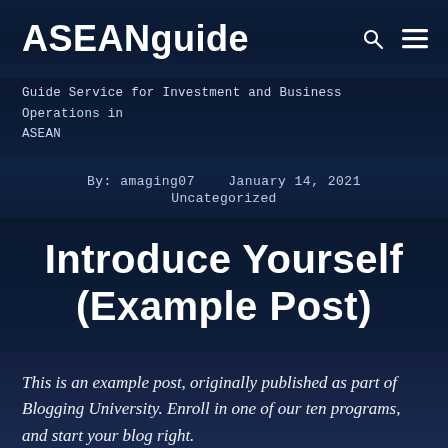ASEANguide
Guide Service for Investment and Business Operations in ASEAN
By: amaging07   January 14, 2021
Uncategorized
Introduce Yourself (Example Post)
This is an example post, originally published as part of Blogging University. Enroll in one of our ten programs, and start your blog right.
Follow ...